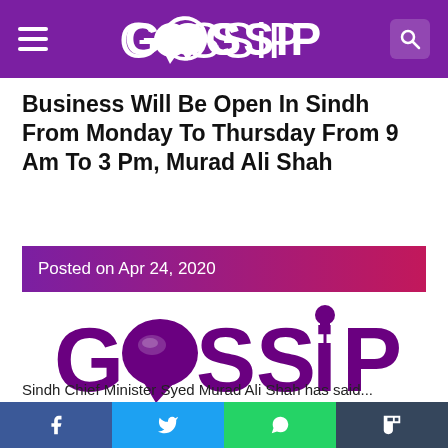GOSSIP
Business Will Be Open In Sindh From Monday To Thursday From 9 Am To 3 Pm, Murad Ali Shah
Posted on Apr 24, 2020
[Figure (logo): GOSSIP logo in purple with speech bubble replacing the letter O and microphone as the letter I]
Sindh Chief Minister Syed Murad Ali Shah has said...